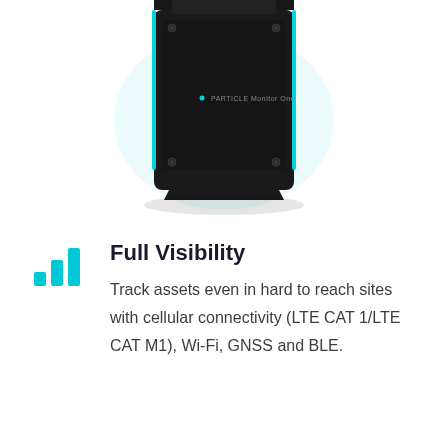[Figure (photo): Close-up photo of a Particle Monitor One IoT device — a black rectangular enclosure with cyan/teal accent edges, mounting screws at corners, and a label reading 'PARTICLE Monitor One'. The device is partially shown from above against a white background.]
[Figure (illustration): Cyan/teal bar chart signal icon with three bars of increasing height, representing cellular connectivity or signal strength.]
Full Visibility
Track assets even in hard to reach sites with cellular connectivity (LTE CAT 1/LTE CAT M1), Wi-Fi, GNSS and BLE.